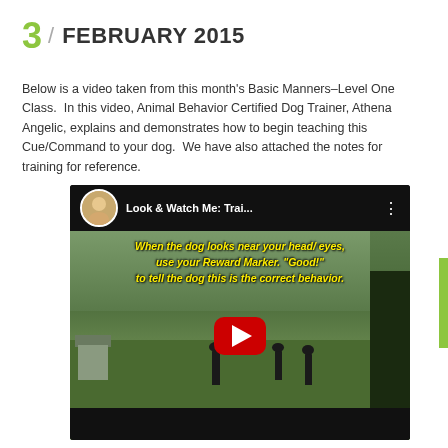3 / FEBRUARY 2015
Below is a video taken from this month’s Basic Manners–Level One Class.  In this video, Animal Behavior Certified Dog Trainer, Athena Angelic, explains and demonstrates how to begin teaching this Cue/Command to your dog.  We have also attached the notes for training for reference.
[Figure (screenshot): YouTube video thumbnail showing 'Look & Watch Me: Trai...' with yellow subtitle text reading 'When the dog looks near your head/ eyes, use your Reward Marker. "Good!" to tell the dog this is the correct behavior.' A red YouTube play button is centered over an outdoor dog training scene.]